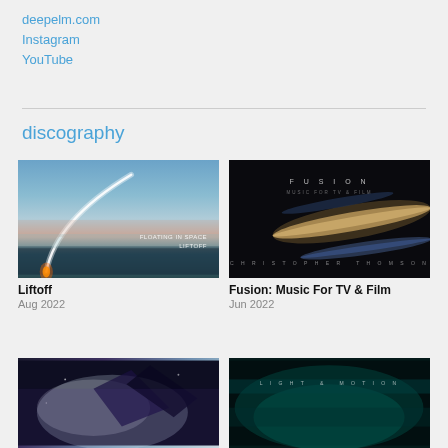deepelm.com
Instagram
YouTube
discography
[Figure (photo): Album cover for Liftoff — rocket launch arc against twilight sky with text FLOATING IN SPACE / LIFTOFF]
Liftoff
Aug 2022
[Figure (photo): Album cover for Fusion: Music For TV & Film — dark background with blurred light streaks, text FUSION at top and CHRISTOPHER THOMSON at bottom]
Fusion: Music For TV & Film
Jun 2022
[Figure (photo): Partial album cover bottom left — abstract space/cloud imagery with geometric shapes]
[Figure (photo): Partial album cover bottom right — dark teal background with text LIGHT & MOTION]